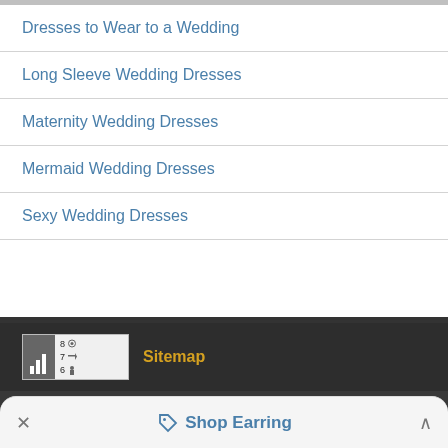Dresses to Wear to a Wedding
Long Sleeve Wedding Dresses
Maternity Wedding Dresses
Mermaid Wedding Dresses
Sexy Wedding Dresses
[Figure (screenshot): Stats widget icon with bar chart and numbers 8, 7, 6 with icons]
Sitemap
This is an informational site focused on English-speaking audience in the United States of America (USA), Canada (CAN), the United Kingdom (UK), Ireland, India, South Africa (RSA), Australia (AU), Europe, Philippines (PHL) etc.
Shop Earring